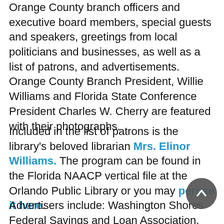Orange County branch officers and executive board members, special guests and speakers, greetings from local politicians and businesses, as well as a list of patrons, and advertisements. Orange County Branch President, Willie Williams and Florida State Conference President Charles W. Cherry are featured with their photographs.
Included in the list of patrons is the library's beloved librarian Mrs. Elinor Williams. The program can be found in the Florida NAACP vertical file at the Orlando Public Library or you may peruse it here.
Advertisers include: Washington Shores Federal Savings and Loan Association, Chic Nic Center, P & D Grocery Store, Jam Factory Super Disco, Inc., West Indian and American Groceries, Walkers Dirt & Landscaping Service, Hilton Inn West, Century 21 – The Wamsley Company, Rev. C. B. Fulse and Mrs. Fulse, Kentucky Fried Chicken, Dr. Alzo J. Reddick, Bruton's Funeral Home, Davis Superette, Wootson Real Estate, Johnny Williams, Jr. Realtor, Al's Army Store